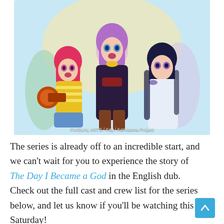[Figure (illustration): Anime illustration from 'The Day I Became a God' showing three anime girl characters in the foreground. Left character has red/pink hair wearing a yellow striped shirt holding a megaphone. Center character has purple hair wearing a dark outfit with a red belt. Right character has dark hair wearing a light blue/white dress. Several other characters visible in background. Image credit: ©VISUAL ARTS / Key / Kamisama Project]
©VISUAL ARTS / Key / Kamisama Project
The series is already off to an incredible start, and we can't wait for you to experience the story of The Day I Became a God in the English dub. Check out the full cast and crew list for the series below, and let us know if you'll be watching this Saturday!